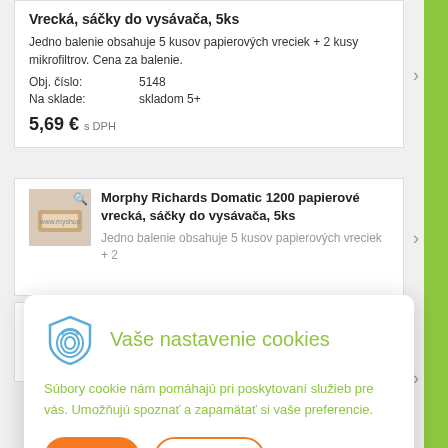Vrecká, sáčky do vysávača, 5ks
Jedno balenie obsahuje 5 kusov papierových vreciek + 2 kusy mikrofiltrov. Cena za balenie.
Obj. číslo: 5148
Na sklade: skladom 5+
5,69 € s DPH
Morphy Richards Domatic 1200 papierové vrecká, sáčky do vysávača, 5ks
Jedno balenie obsahuje 5 kusov papierových vreciek + 2
Vaše nastavenie cookies
Súbory cookie nám pomáhajú pri poskytovaní služieb pre vás. Umožňujú spoznať a zapamätať si vaše preferencie.
Prijať
Nastaviť
Jedno balenie obsahuje 5 kusov papierových vreciek + 2 kusy mikrofiltrov. Cena za balenie.